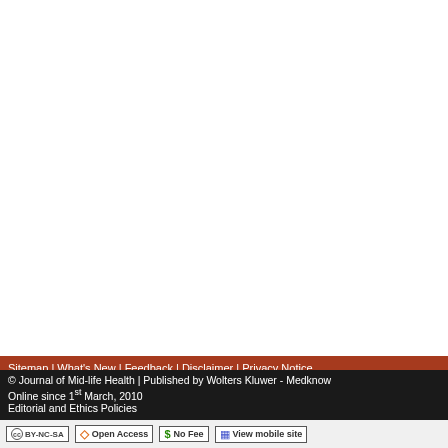Sitemap | What's New | Feedback | Disclaimer | Privacy Notice
© Journal of Mid-life Health | Published by Wolters Kluwer - Medknow
Online since 1st March, 2010
Editorial and Ethics Policies
(cc) BY-NC-SA  Open Access  $ No Fee  View mobile site